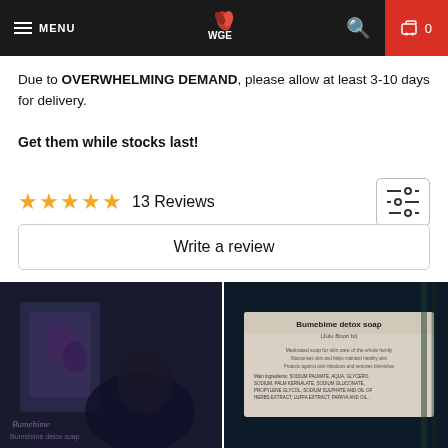MENU | WGE logo | Search | Cart 0
Due to OVERWHELMING DEMAND, please allow at least 3-10 days for delivery.
Get them while stocks last!
★★★★★  13 Reviews
Write a review
[Figure (photo): Photo of Bumebime detox soap product package, dark background]
[Figure (photo): Photo of Bumebime detox soap label with ingredients text, dark background]